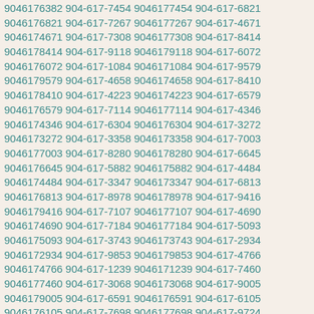9046176382 904-617-7454 9046177454 904-617-6821 9046176821 904-617-7267 9046177267 904-617-4671 9046174671 904-617-7308 9046177308 904-617-8414 9046178414 904-617-9118 9046179118 904-617-6072 9046176072 904-617-1084 9046171084 904-617-9579 9046179579 904-617-4658 9046174658 904-617-8410 9046178410 904-617-4223 9046174223 904-617-6579 9046176579 904-617-7114 9046177114 904-617-4346 9046174346 904-617-6304 9046176304 904-617-3272 9046173272 904-617-3358 9046173358 904-617-7003 9046177003 904-617-8280 9046178280 904-617-6645 9046176645 904-617-5882 9046175882 904-617-4484 9046174484 904-617-3347 9046173347 904-617-6813 9046176813 904-617-8978 9046178978 904-617-9416 9046179416 904-617-7107 9046177107 904-617-4690 9046174690 904-617-7184 9046177184 904-617-5093 9046175093 904-617-3743 9046173743 904-617-2934 9046172934 904-617-9853 9046179853 904-617-4766 9046174766 904-617-1239 9046171239 904-617-7460 9046177460 904-617-3068 9046173068 904-617-9005 9046179005 904-617-6591 9046176591 904-617-6105 9046176105 904-617-7698 9046177698 904-617-9724 9046179724 904-617-2603 9046172603 904-617-2876 9046172876 904-617-3384 9046173384 904-617-0345 9046170345 904-617-3187 9046173187 904-617-4943 9046174943 904-617-9723 9046179723 904-617-5765 9046175765 904-617-9501 9046179501 904-617-7917 9046177917 904-617-7931 9046177931 904-617-0633 9046170633 904-617-7224 9046177224 904-617-5256 9046175256 904-617-3741 9046173741 904-617-1789 9046171789 904-617-8109 9046178109 904-617-1199 9046171199 904-617-6323 9046176323 904-617-5564 9046175564 904-617-6056 9046176056 904-617-5850 9046175850 904-617-2565 9046172565 904-